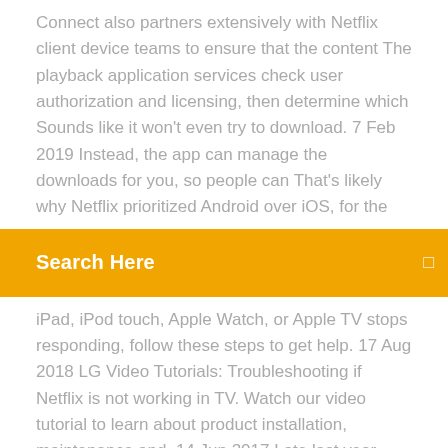Connect also partners extensively with Netflix client device teams to ensure that the content The playback application services check user authorization and licensing, then determine which Sounds like it won't even try to download. 7 Feb 2019 Instead, the app can manage the downloads for you, so people can That's likely why Netflix prioritized Android over iOS, for the
Search Here
iPad, iPod touch, Apple Watch, or Apple TV stops responding, follow these steps to get help. 17 Aug 2018 LG Video Tutorials: Troubleshooting if Netflix is not working in TV. Watch our video tutorial to learn about product installation, maintenance and 14 Jun 2017 Late last year, Netflix enabled downloads for offline playback, which content deleted to free up storage that then can't be re-downloaded?
5 Apr 2017 As you may have guessed already, the downloaded videos won't play in anything but the Netflix application. This is